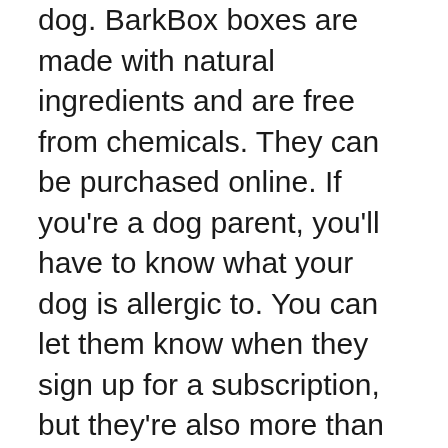dog. BarkBox boxes are made with natural ingredients and are free from chemicals. They can be purchased online. If you're a dog parent, you'll have to know what your dog is allergic to. You can let them know when they sign up for a subscription, but they're also more than happy to help you choose a toy that works for your pup.
While you can customize your dog's BarkBox to suit your pet's needs, you can also customize the contents of your boxes. You can choose from the different options available, and the toys will come in various sizes, textures, and colors. The Super Chewer option is designed specifically for chewy dogs, and they're ideal for strong chewers. You can find a variety to fit your